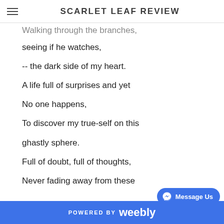SCARLET LEAF REVIEW
Walking through the branches,
seeing if he watches,
-- the dark side of my heart.
A life full of surprises and yet
No one happens,
To discover my true-self on this
ghastly sphere.
Full of doubt, full of thoughts,
Never fading away from these
POWERED BY weebly